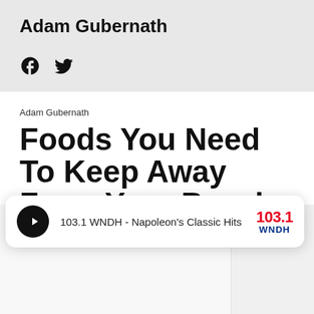Adam Gubernath
[Figure (other): Social media icons: Facebook and Twitter]
Adam Gubernath
Foods You Need To Keep Away From Your Beach
[Figure (other): Radio player widget: 103.1 WNDH - Napoleon's Classic Hits with play button and station logo]